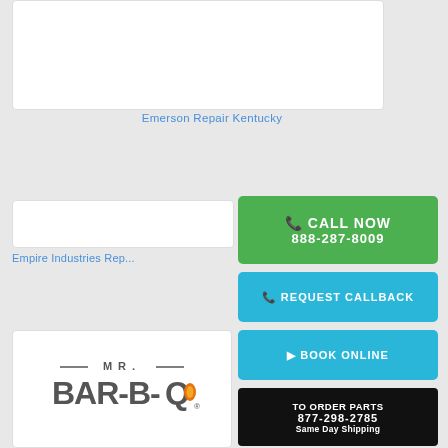[Figure (other): White card placeholder at top of page]
Emerson Repair Kentucky
[Figure (other): White card placeholder for Empire Industries Repair]
Empire Industries Repair
[Figure (other): Green CALL NOW button with phone icon and number 888-287-8009]
[Figure (other): Blue REQUEST CALLBACK button with phone icon]
[Figure (other): Blue BOOK ONLINE button with arrow icon]
[Figure (other): Black banner: TO ORDER PARTS 877-298-2785 Same Day Shipping]
[Figure (logo): MR. BAR-B-Q logo with orange flame letter Q]